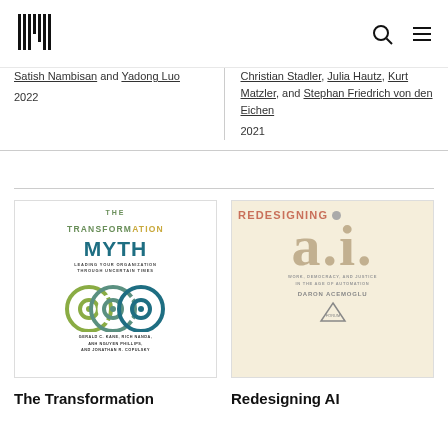[Figure (logo): MIT Press barcode-style logo]
Satish Nambisan and Yadong Luo
2022
Christian Stadler, Julia Hautz, Kurt Matzler, and Stephan Friedrich von den Eichen
2021
[Figure (illustration): Book cover: The Transformation Myth by Gerald C. Kane, Rich Nanda, Anh Nguyen Phillips, and Jonathan R. Copulsky]
[Figure (illustration): Book cover: Redesigning AI by Daron Acemoglu]
The Transformation
Redesigning AI